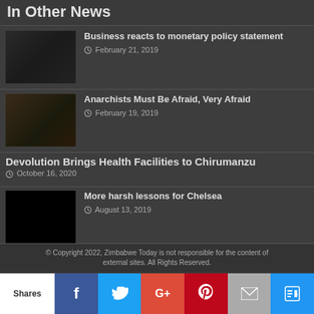In Other News
[Figure (photo): Dark thumbnail image of a person in a suit]
Business reacts to monetary policy statement
© February 21, 2019
[Figure (photo): Dark thumbnail image of a crowd]
Anarchists Must Be Afraid, Very Afraid
© February 19, 2019
Devolution Brings Health Facilities to Chirumanzu
© October 16, 2020
[Figure (photo): Dark/black thumbnail image]
More harsh lessons for Chelsea
© August 13, 2019
© Copyright 2022, Zimbabwe Today is not responsible for the content of external sites. All Rights Reserved.